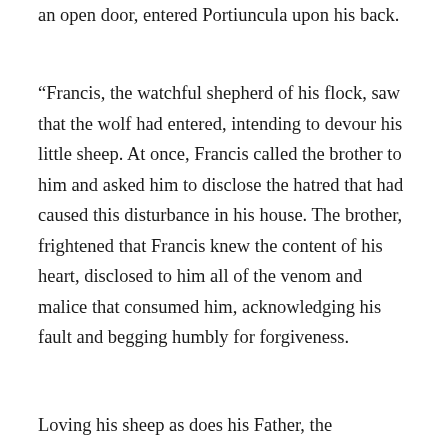an open door, entered Portiuncula upon his back.
“Francis, the watchful shepherd of his flock, saw that the wolf had entered, intending to devour his little sheep. At once, Francis called the brother to him and asked him to disclose the hatred that had caused this disturbance in his house. The brother, frightened that Francis knew the content of his heart, disclosed to him all of the venom and malice that consumed him, acknowledging his fault and begging humbly for forgiveness.
Loving his sheep as does his Father, the